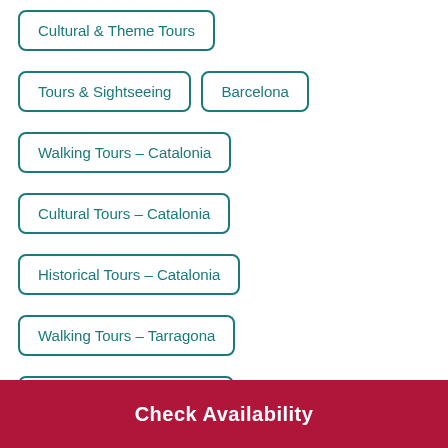Cultural & Theme Tours
Tours & Sightseeing
Barcelona
Walking Tours - Catalonia
Cultural Tours - Catalonia
Historical Tours - Catalonia
Walking Tours - Tarragona
Cultural Tours - Tarragona
Check Availability